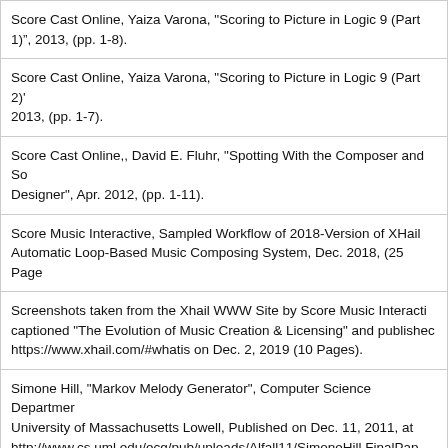Score Cast Online, Yaiza Varona, "Scoring to Picture in Logic 9 (Part 1)", 2013, (pp. 1-8).
Score Cast Online, Yaiza Varona, "Scoring to Picture in Logic 9 (Part 2)", 2013, (pp. 1-7).
Score Cast Online,, David E. Fluhr, "Spotting With the Composer and Sound Designer", Apr. 2012, (pp. 1-11).
Score Music Interactive, Sampled Workflow of 2018-Version of XHail Automatic Loop-Based Music Composing System, Dec. 2018, (25 Pages).
Screenshots taken from the Xhail WWW Site by Score Music Interactive, captioned "The Evolution of Music Creation & Licensing" and published at https://www.xhail.com/#whatis on Dec. 2, 2019 (10 Pages).
Simone Hill, "Markov Melody Generator", Computer Science Department, University of Massachusetts Lowell, Published on Dec. 11, 2011, at http://www.cs.uml.edu/ecg/pub/uploads/Alfall11/SimoneHill.FinalPaper.MarkovMelodyGenerator.pdf, (4 Pages).
Simpsons Music 500, "Music Editing 101-Music Spotting Notes", Aug. [date], (pp. 1-6).
Siwei Qin et al, Lexical Tones Learning with Automatic Music Composition System Considering Prosody of Mandarin Chinese, 2010, Graduate School of Information Science and Technology, The University of Tokyo, Japan, (